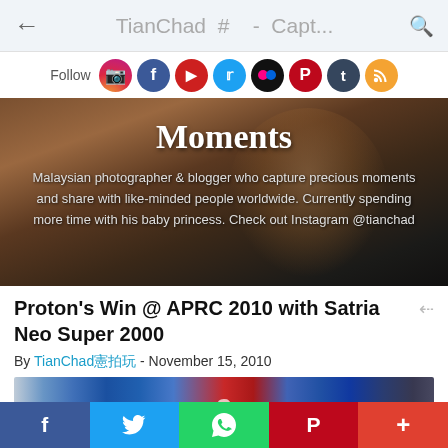← TianChad # - Capt... 🔍
Follow [social icons: Instagram, Facebook, YouTube, Twitter, Flickr, Pinterest, Tumblr, RSS]
[Figure (photo): Hero banner with a smiling person in the background. Text overlay: 'Moments' and 'Malaysian photographer & blogger who capture precious moments and share with like-minded people worldwide. Currently spending more time with his baby princess. Check out Instagram @tianchad']
Proton's Win @ APRC 2010 with Satria Neo Super 2000
By TianChad憲拍玩 - November 15, 2010
[Figure (photo): Partial image of flags including Australian flag and other colorful flags, with a number visible]
f  [Twitter bird]  [WhatsApp]  P  +